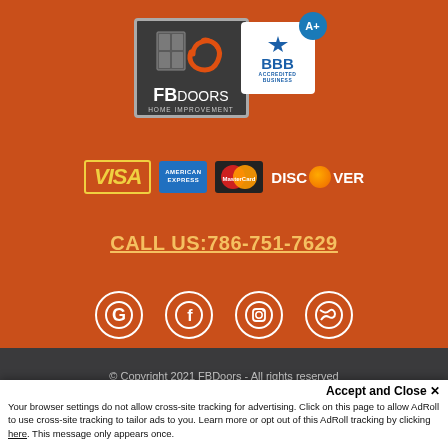[Figure (logo): FBDoors Home Improvement logo with dark background and orange swirl icon]
[Figure (logo): BBB Accredited Business A+ badge]
[Figure (logo): Payment method logos: VISA, American Express, MasterCard, Discover]
CALL US:786-751-7629
[Figure (infographic): Social media icons: Google, Facebook, Instagram, Twitter]
© Copyright 2021 FBDoors - All rights reserved
Accept and Close ✕
Your browser settings do not allow cross-site tracking for advertising. Click on this page to allow AdRoll to use cross-site tracking to tailor ads to you. Learn more or opt out of this AdRoll tracking by clicking here. This message only appears once.